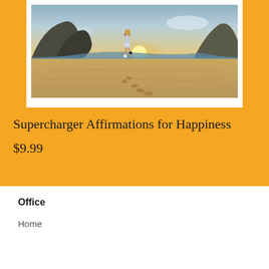[Figure (photo): Person walking on a beach at sunset with footprints in the sand, rocky cliffs in the background, golden light from the sun on the horizon. Person wearing shorts and carrying a backpack.]
Supercharger Affirmations for Happiness
$9.99
Office
Home